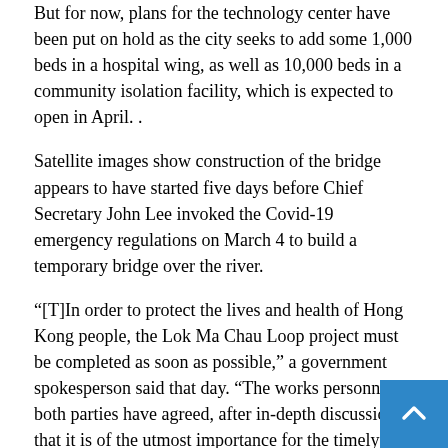But for now, plans for the technology center have been put on hold as the city seeks to add some 1,000 beds in a hospital wing, as well as 10,000 beds in a community isolation facility, which is expected to open in April. .
Satellite images show construction of the bridge appears to have started five days before Chief Secretary John Lee invoked the Covid-19 emergency regulations on March 4 to build a temporary bridge over the river.
“[T]In order to protect the lives and health of Hong Kong people, the Lok Ma Chau Loop project must be completed as soon as possible,” a government spokesperson said that day. “The works personnel of both parties have agreed, after in-depth discussions, that it is of the utmost importance for the timely completion of the project to build temporary bridges in the border area of the Lok Ma Chau Loop.”